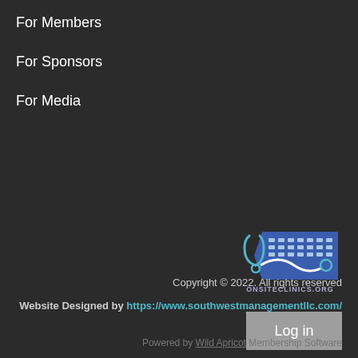For Members
For Sponsors
For Media
[Figure (logo): OnsiteClinics.org logo — a stethoscope and keyboard graphic with the text ONSITECLINICS.ORG below]
Copyright © 2022. All rights reserved
Website Designed by https://www.southwestmanagementllc.com/
Log in
Powered by Wild Apricot Membership Software